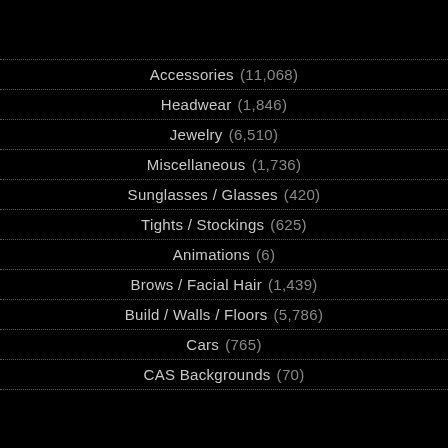Accessories (11,068)
Headwear (1,846)
Jewelry (6,510)
Miscellaneous (1,736)
Sunglasses / Glasses (420)
Tights / Stockings (625)
Animations (6)
Brows / Facial Hair (1,439)
Build / Walls / Floors (5,786)
Cars (765)
CAS Backgrounds (70)